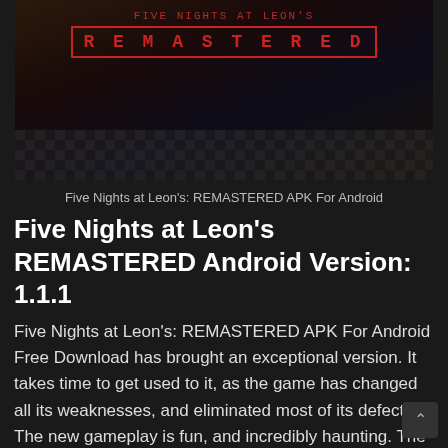[Figure (screenshot): Screenshot of Five Nights at Leon's REMASTERED game title screen with dark background and red bordered REMASTERED text logo]
Five Nights at Leon's: REMASTERED APK For Android
Five Nights at Leon's REMASTERED Android Version: 1.1.1
Five Nights at Leon's: REMASTERED APK For Android Free Download has brought an exceptional version. It takes time to get used to it, as the game has changed all its weaknesses, and eliminated most of its defects. The new gameplay is fun, and incredibly haunting. The author has made an entirely different version, and the most noticeable points are the high-quality